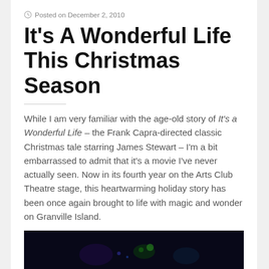Posted on December 2, 2010
It's A Wonderful Life This Christmas Season
While I am very familiar with the age-old story of It's a Wonderful Life – the Frank Capra-directed classic Christmas tale starring James Stewart – I'm a bit embarrassed to admit that it's a movie I've never actually seen. Now in its fourth year on the Arts Club Theatre stage, this heartwarming holiday story has been once again brought to life with magic and wonder on Granville Island.
[Figure (photo): Dark stage performance photo showing green/blue lighting effects]